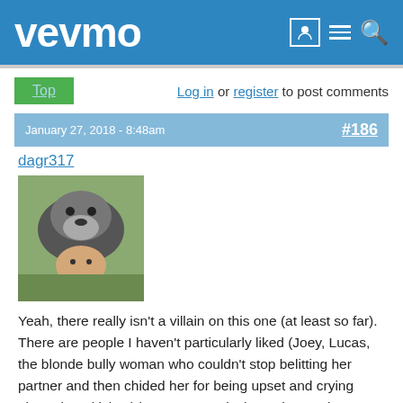vevmo
Top   Log in or register to post comments
January 27, 2018 - 8:48am   #186
dagr317
[Figure (photo): User avatar photo showing a dog and a child]
Yeah, there really isn't a villain on this one (at least so far).  There are people I haven't particularly liked (Joey, Lucas, the blonde bully woman who couldn't stop belitting her partner and then chided her for being upset and crying about the criticism) but I'm not actively rooting against anyone at this point.  My